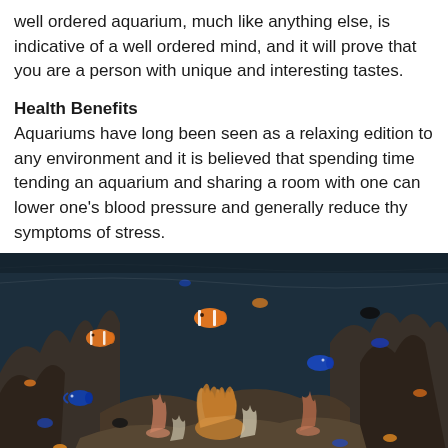well ordered aquarium, much like anything else, is indicative of a well ordered mind, and it will prove that you are a person with unique and interesting tastes.
Health Benefits
Aquariums have long been seen as a relaxing edition to any environment and it is believed that spending time tending an aquarium and sharing a room with one can lower one's blood pressure and generally reduce thy symptoms of stress.
[Figure (photo): An aquarium filled with colorful tropical fish including clownfish and blue tang, with coral reefs, sea anemones, and rocky formations in the background.]